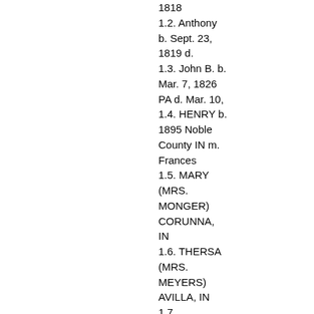1818 1.2. Anthony b. Sept. 23, 1819 d. 1.3. John B. b. Mar. 7, 1826 PA d. Mar. 10, 1.4. HENRY b. 1895 Noble County IN m. Frances 1.5. MARY (MRS. MONGER) CORUNNA, IN 1.6. THERSA (MRS. MEYERS) AVILLA, IN 1.7. ELIZABETH (MRS. SMITH)